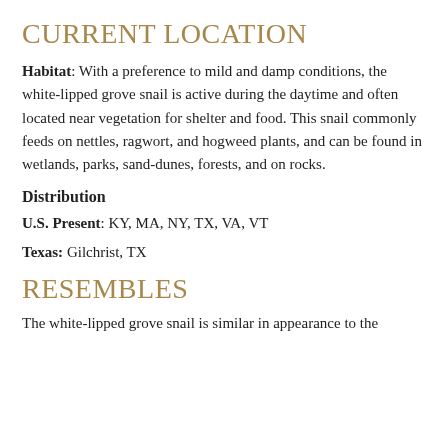CURRENT LOCATION
Habitat: With a preference to mild and damp conditions, the white-lipped grove snail is active during the daytime and often located near vegetation for shelter and food. This snail commonly feeds on nettles, ragwort, and hogweed plants, and can be found in wetlands, parks, sand-dunes, forests, and on rocks.
Distribution
U.S. Present: KY, MA, NY, TX, VA, VT
Texas: Gilchrist, TX
RESEMBLES
The white-lipped grove snail is similar in appearance to the